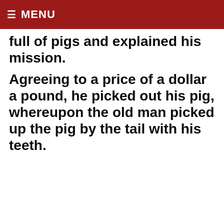≡ MENU
full of pigs and explained his mission.
Agreeing to a price of a dollar a pound, he picked out his pig, whereupon the old man picked up the pig by the tail with his teeth.